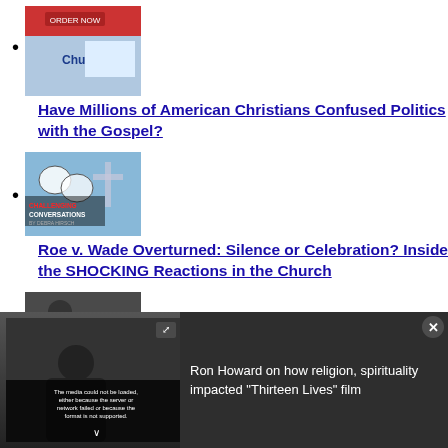[thumbnail image]
Have Millions of American Christians Confused Politics with the Gospel?
[thumbnail image - Challenging Conversations with cross]
Roe v. Wade Overturned: Silence or Celebration? Inside the SHOCKING Reactions in the Church
[thumbnail image - Helping Those Who Struggle with Grief...]
[Figure (screenshot): Video player overlay showing media error: 'The media could not be loaded, either because the server or network failed or because the format is not supported.' with text sidebar: 'Ron Howard on how religion, spirituality impacted Thirteen Lives film']